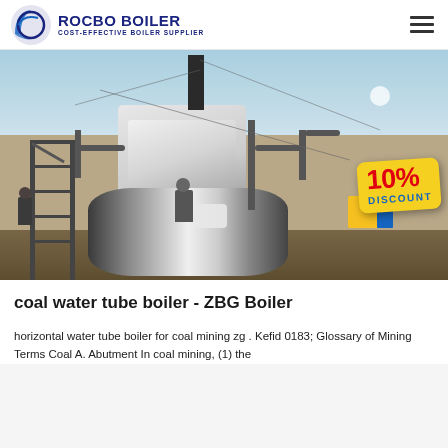ROCBO BOILER — COST-EFFECTIVE BOILER SUPPLIER
[Figure (photo): Industrial coal water tube boiler installed outdoors at a construction/industrial site. A large cylindrical boiler drum is visible along with scaffolding, pipes, and workers. A yellow badge reads '10% DISCOUNT' in red and blue text.]
coal water tube boiler - ZBG Boiler
horizontal water tube boiler for coal mining zg . Kefid 0183; Glossary of Mining Terms Coal A. Abutment In coal mining, (1) the